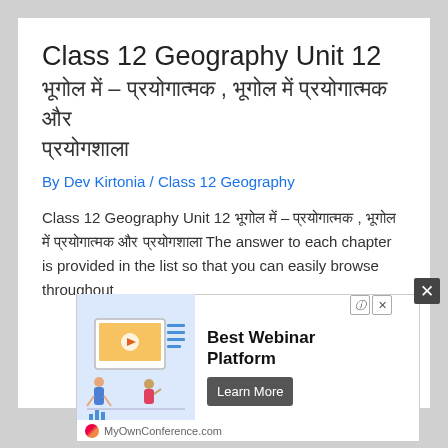Class 12 Geography Unit 12 भूगोल में – प्रयोगात्मक , भूगोल में प्रयोगात्मक और प्रयोगशाला
By Dev Kirtonia / Class 12 Geography
Class 12 Geography Unit 12 भूगोल में – प्रयोगात्मक , भूगोल में प्रयोगात्मक और प्रयोगशाला The answer to each chapter is provided in the list so that you can easily browse throughout different chapters. As per Board NCERT Class
[Figure (other): Advertisement banner for MyOwnConference.com webinar platform with illustration of people and presentation screen, Learn More button]